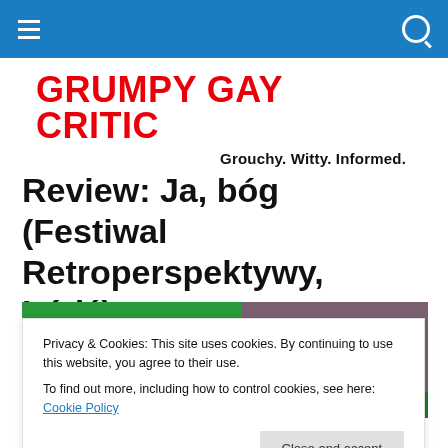Navigation bar with hamburger menu and search icon
GRUMPY GAY CRITIC
Grouchy. Witty. Informed.
Review: Ja, bóg (Festiwal Retroperspektywy, Łódź)
[Figure (photo): Partial view of a person against a green background]
Privacy & Cookies: This site uses cookies. By continuing to use this website, you agree to their use.
To find out more, including how to control cookies, see here: Cookie Policy
Close and accept